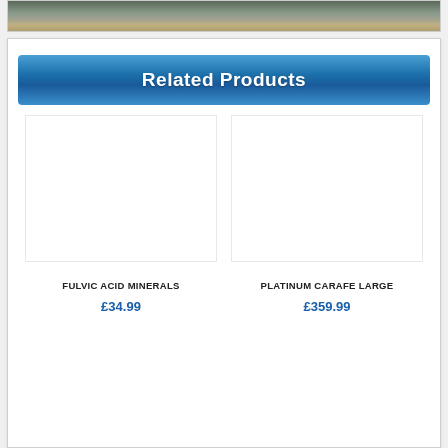[Figure (photo): Partial photo of rocks/gravel at top of page]
Related Products
FULVIC ACID MINERALS
£34.99
PLATINUM CARAFE LARGE
£359.99